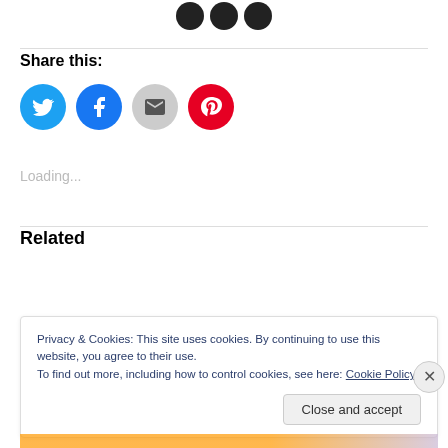[Figure (illustration): Three dark circles/icons at the top center of the page]
Share this:
[Figure (illustration): Four social share buttons: Twitter (blue), Facebook (blue), Email (gray), Pinterest (red)]
Loading...
Related
Privacy & Cookies: This site uses cookies. By continuing to use this website, you agree to their use.
To find out more, including how to control cookies, see here: Cookie Policy